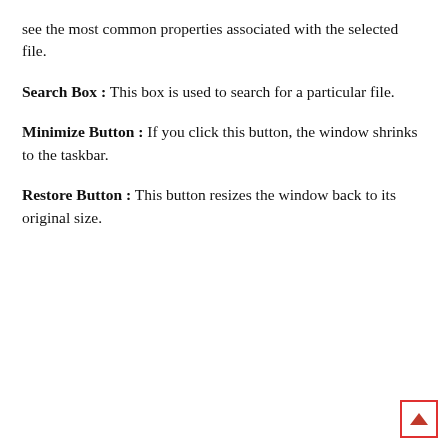see the most common properties associated with the selected file.
Search Box : This box is used to search for a particular file.
Minimize Button : If you click this button, the window shrinks to the taskbar.
Restore Button : This button resizes the window back to its original size.
[Figure (other): A small red-bordered square button with an upward-pointing triangle/arrow icon, positioned at the bottom-right corner of the page.]